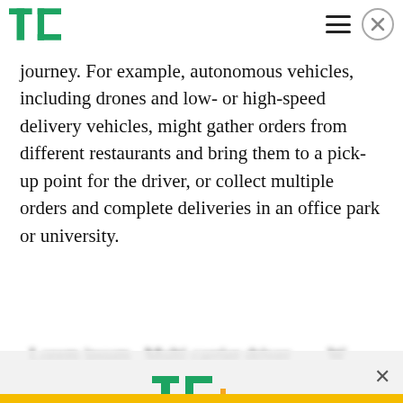TechCrunch logo and navigation bar
journey. For example, autonomous vehicles, including drones and low- or high-speed delivery vehicles, might gather orders from different restaurants and bring them to a pick-up point for the driver, or collect multiple orders and complete deliveries in an office park or university.
...blurred text below...
[Figure (logo): TC+ TechCrunch Plus logo in green with orange plus sign]
Celebrate Labor Day: Subscribe TechCrunch+ Today Only for $90/Year.
GET OFFER NOW